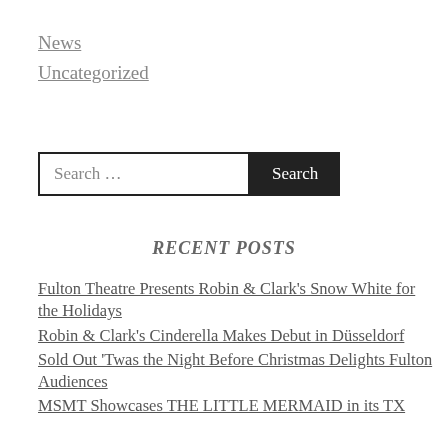News
Uncategorized
RECENT POSTS
Fulton Theatre Presents Robin & Clark's Snow White for the Holidays
Robin & Clark's Cinderella Makes Debut in Düsseldorf
Sold Out 'Twas the Night Before Christmas Delights Fulton Audiences
MSMT Showcases THE LITTLE MERMAID in its TX…